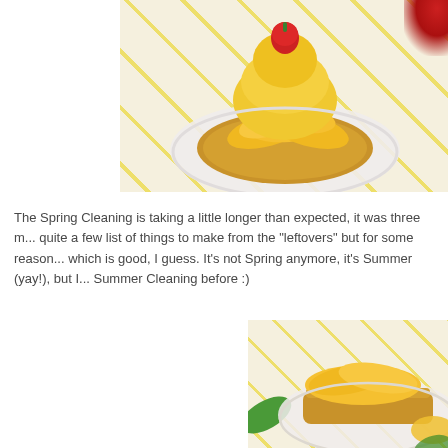[Figure (photo): Close-up photo of a mango tart with sliced mango pieces, topped with a round yellow mousse/cream and a strawberry, on a white plate with yellow chevron patterned background. A strawberry is partially visible in the top-right corner.]
The Spring Cleaning is taking a little longer than expected, it was three m... quite a few list of things to make from the "leftovers" but for some reason... which is good, I guess. It's not Spring anymore, it's Summer (yay!), but I... Summer Cleaning before :)
[Figure (photo): Close-up photo of mango tart on a plate with yellow chevron background, showing the crust and mango slices, with a green leaf visible on the left side.]